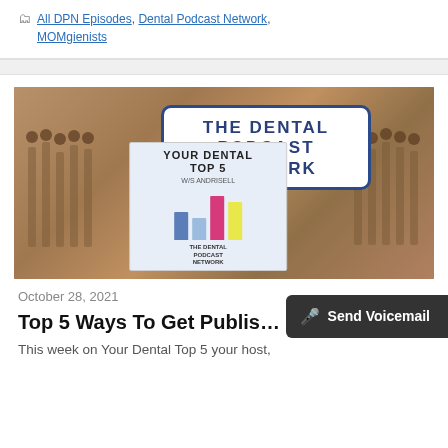All DPN Episodes, Dental Podcast Network, MOMgienists
[Figure (photo): Photo of a podcast mixing board/audio console with a superimposed graphic showing The Dental Podcast Network logo in a white rounded rectangle with blue border, and a smaller card below showing 'Your Dental Top 5' with a mini bar chart in blue, pink, and yellow bars.]
October 28, 2021
Top 5 Ways To Get Publis…
This week on Your Dental Top 5 your host,